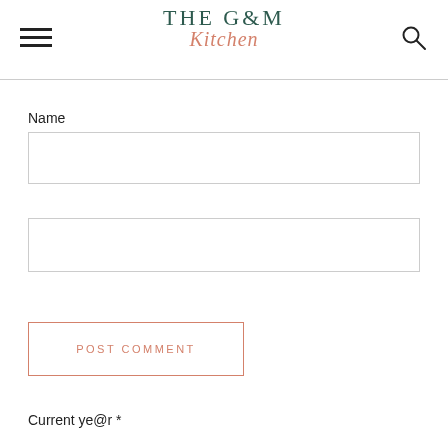THE G&M Kitchen
Name
Email
POST COMMENT
Current ye@r *